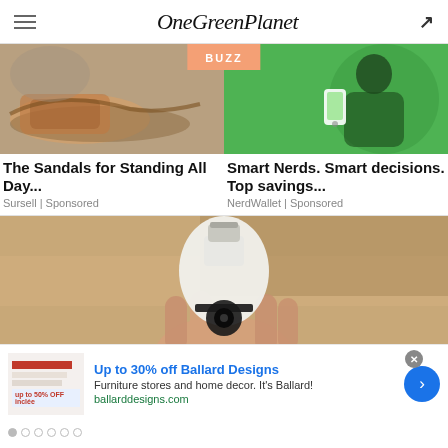OneGreenPlanet
[Figure (photo): BUZZ banner between two ad images showing sandals and a person holding a phone]
The Sandals for Standing All Day...
Sursell | Sponsored
Smart Nerds. Smart decisions. Top savings...
NerdWallet | Sponsored
[Figure (photo): Hand holding a white smart light bulb]
[Figure (other): Advertisement banner: Up to 30% off Ballard Designs. Furniture stores and home decor. It's Ballard! ballarddesigns.com]
Up to 30% off Ballard Designs
Furniture stores and home decor. It's Ballard!
ballarddesigns.com